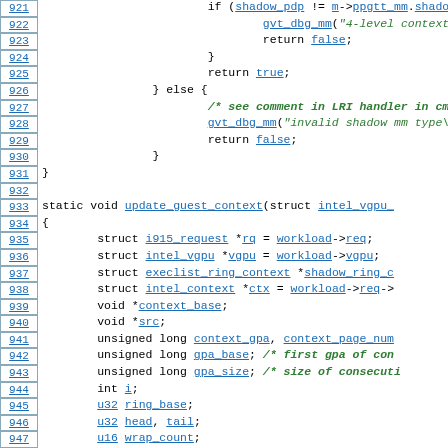[Figure (screenshot): Source code listing showing C code for shadow page directory checking and update_guest_context function, lines 921-951, with syntax highlighting and line number links.]